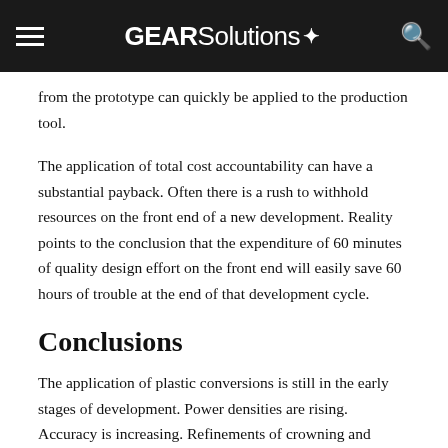GEARSolutions
from the prototype can quickly be applied to the production tool.
The application of total cost accountability can have a substantial payback. Often there is a rush to withhold resources on the front end of a new development. Reality points to the conclusion that the expenditure of 60 minutes of quality design effort on the front end will easily save 60 hours of trouble at the end of that development cycle.
Conclusions
The application of plastic conversions is still in the early stages of development. Power densities are rising. Accuracy is increasing. Refinements of crowning and profile modifications are being used and are becoming more accepted.